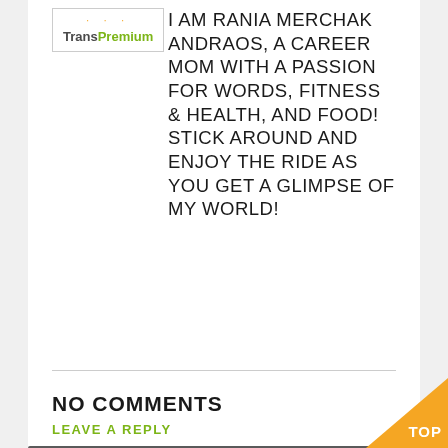[Figure (logo): TransPremium logo with orange dots accent, green 'Premium' text]
I AM RANIA MERCHAK ANDRAOS, A CAREER MOM WITH A PASSION FOR WORDS, FITNESS & HEALTH, AND FOOD! STICK AROUND AND ENJOY THE RIDE AS YOU GET A GLIMPSE OF MY WORLD!
NO COMMENTS
LEAVE A REPLY
Enter your comment here...